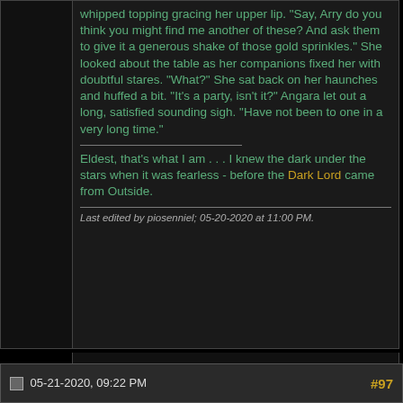whipped topping gracing her upper lip. "Say, Arry do you think you might find me another of these? And ask them to give it a generous shake of those gold sprinkles." She looked about the table as her companions fixed her with doubtful stares. "What?" She sat back on her haunches and huffed a bit. "It's a party, isn't it?" Angara let out a long, satisfied sounding sigh. "Have not been to one in a very long time."
Eldest, that's what I am . . . I knew the dark under the stars when it was fearless - before the Dark Lord came from Outside.
Last edited by piosenniel; 05-20-2020 at 11:00 PM.
05-21-2020, 09:22 PM   #97